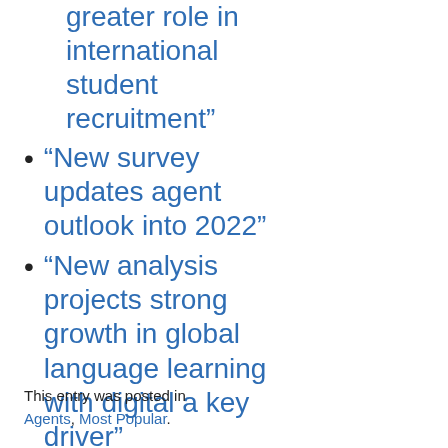greater role in international student recruitment”
“New survey updates agent outlook into 2022”
“New analysis projects strong growth in global language learning with digital a key driver”
This entry was posted in Agents, Most Popular.